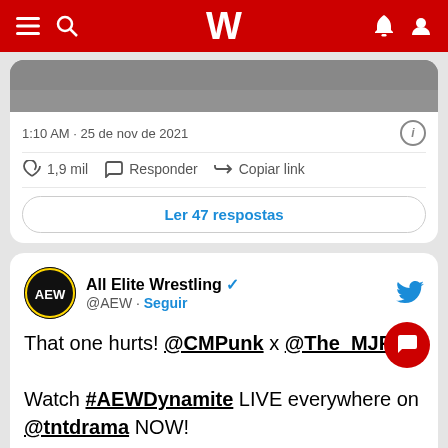W (logo) — navigation bar with menu, search, bell, profile icons
[Figure (screenshot): Partial image from a tweet, showing the bottom portion of a photo]
1:10 AM · 25 de nov de 2021
1,9 mil   Responder   Copiar link
Ler 47 respostas
All Elite Wrestling @AEW · Seguir
That one hurts! @CMPunk x @The_MJF

Watch #AEWDynamite LIVE everywhere on @tntdrama NOW!
[Figure (screenshot): Bottom portion of second tweet showing AEW broadcast image with 'Assistir no Twitter' overlay]